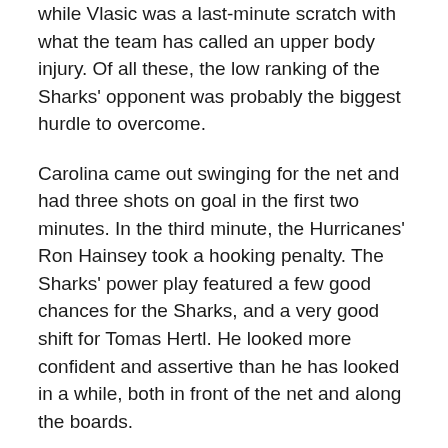while Vlasic was a last-minute scratch with what the team has called an upper body injury. Of all these, the low ranking of the Sharks' opponent was probably the biggest hurdle to overcome.
Carolina came out swinging for the net and had three shots on goal in the first two minutes. In the third minute, the Hurricanes' Ron Hainsey took a hooking penalty. The Sharks' power play featured a few good chances for the Sharks, and a very good shift for Tomas Hertl. He looked more confident and assertive than he has looked in a while, both in front of the net and along the boards.
Most of the Sharks' power play shots were blocked by Hurricanes, and after five minutes the shots were 6-2 Carolina. Niemi was facing a lot of good chances. Six and a half minutes in, Matt Tennyson went to the box for high-